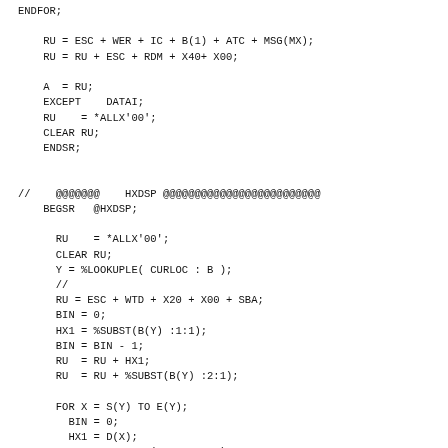ENDFOR;

    RU = ESC + WER + IC + B(1) + ATC + MSG(MX);
    RU = RU + ESC + RDM + X40+ X00;

    A  = RU;
    EXCEPT    DATAI;
    RU    = *ALLX'00';
    CLEAR RU;
    ENDSR;


//    @@@@@@@    HXDSP @@@@@@@@@@@@@@@@@@@@@@@@@
    BEGSR   @HXDSP;

      RU    = *ALLX'00';
      CLEAR RU;
      Y = %LOOKUPLE( CURLOC : B );
      //
      RU = ESC + WTD + X20 + X00 + SBA;
      BIN = 0;
      HX1 = %SUBST(B(Y) :1:1);
      BIN = BIN - 1;
      RU  = RU + HX1;
      RU  = RU + %SUBST(B(Y) :2:1);

      FOR X = S(Y) TO E(Y);
        BIN = 0;
        HX1 = D(X);
        HX1 = %BITAND(HX1  : XF0);
        Z   = BIN / 16 + 1;
        RU  = RU + CRS(Z);
      ENDFOR;

      RU  = RU + X20;

      RU  = RU + SBA + B(Y);
      FOR X = S(Y) TO E(Y);